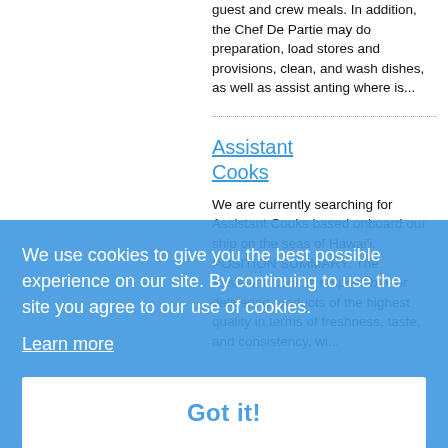guest and crew meals. In addition, the Chef De Partie may do preparation, load stores and provisions, clean, and wash dishes, as well as assist anting where is...
Assistant Cooks
We are currently searching for Assistant Cooks based onboard our ship on the seas of Hawai'i. POSITION SUMMARY: The Assistant Cook is responsible for delivering products of the highest quality in terms of freshness, taste, and consistency, wi...
We use cookies to give you the best possible experience on our site. By continuing to use the site you agree to our use of cookies.
Learn more
Got it!